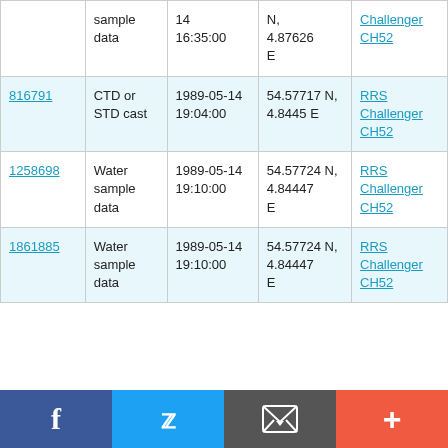| ID | Type | Date/Time | Location | Vessel |
| --- | --- | --- | --- | --- |
| (partial row) | sample data | 14 16:35:00 | N, 4.87626 E | RRS Challenger CH52 |
| 816791 | CTD or STD cast | 1989-05-14 19:04:00 | 54.57717 N, 4.8445 E | RRS Challenger CH52 |
| 1258698 | Water sample data | 1989-05-14 19:10:00 | 54.57724 N, 4.84447 E | RRS Challenger CH52 |
| 1861885 | Water sample data | 1989-05-14 19:10:00 | 54.57724 N, 4.84447 E | RRS Challenger CH52 |
Social share bar: Facebook, Twitter, Email, More